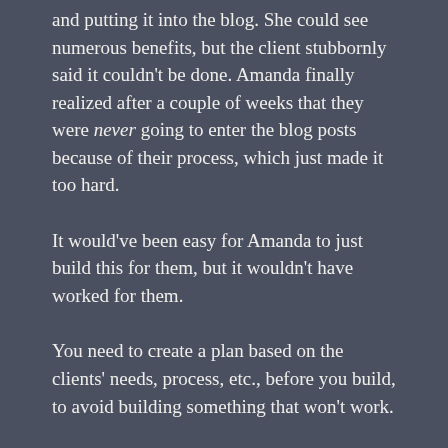and putting it into the blog. She could see numerous benefits, but the client stubbornly said it couldn't be done. Amanda finally realized after a couple of weeks that they were never going to enter the blog posts because of their process, which just made it too hard.
It would've been easy for Amanda to just build this for them, but it wouldn't have worked for them.
You need to create a plan based on the clients' needs, process, etc., before you build, to avoid building something that won't work.